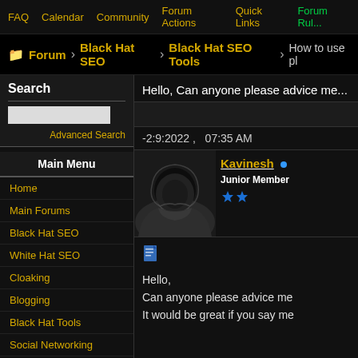FAQ  Calendar  Community  Forum Actions  Quick Links  Forum Rules
Forum  Black Hat SEO  Black Hat SEO Tools  How to use pl...
Search
Advanced Search
Main Menu
Home
Main Forums
Black Hat SEO
White Hat SEO
Cloaking
Blogging
Black Hat Tools
Social Networking
Downloads
Hello, Can anyone please advice me
-2:9:2022 ,   07:35 AM
Kavinesh
Junior Member
Hello,

Can anyone please advice me

It would be great if you say me